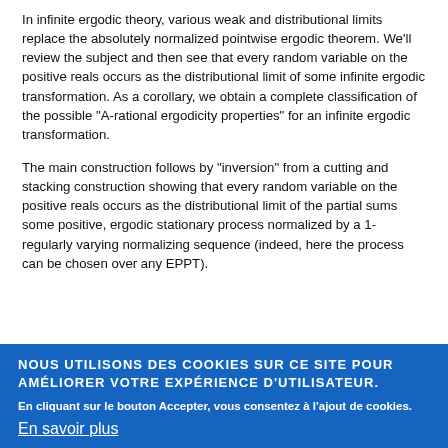In infinite ergodic theory, various weak and distributional limits replace the absolutely normalized pointwise ergodic theorem. We'll review the subject and then see that every random variable on the positive reals occurs as the distributional limit of some infinite ergodic transformation. As a corollary, we obtain a complete classification of the possible "A-rational ergodicity properties" for an infinite ergodic transformation.
The main construction follows by "inversion" from a cutting and stacking construction showing that every random variable on the positive reals occurs as the distributional limit of the partial sums some positive, ergodic stationary process normalized by a 1-regularly varying normalizing sequence (indeed, here the process can be chosen over any EPPT).
NOUS UTILISONS DES COOKIES SUR CE SITE POUR AMÉLIORER VOTRE EXPÉRIENCE D'UTILISATEUR. En cliquant sur le bouton Accepter, vous consentez à l'ajout de cookies. En savoir plus